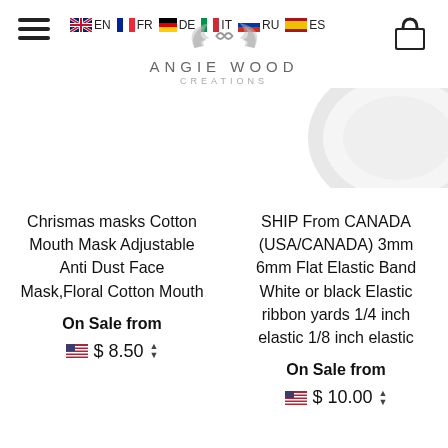EN FR DE IT RU ES — Angie Wood Creations
[Figure (photo): Partial product image visible in upper right, appears to be a white/silver round object]
Chrismas masks Cotton Mouth Mask Adjustable Anti Dust Face Mask,Floral Cotton Mouth
On Sale from $8.50
SHIP From CANADA (USA/CANADA) 3mm 6mm Flat Elastic Band White or black Elastic ribbon yards 1/4 inch elastic 1/8 inch elastic
On Sale from $10.00